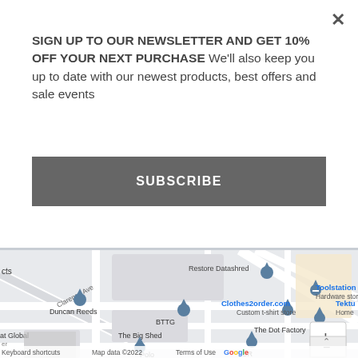SIGN UP TO OUR NEWSLETTER AND GET 10% OFF YOUR NEXT PURCHASE We'll also keep you up to date with our newest products, best offers and sale events
SUBSCRIBE
[Figure (map): Google Maps screenshot showing a street-level map with business pins including: Restore Datashred, Toolstation Hardware store, Duncan Reeds, BTTG, Clothes2order.com Custom t-shirt store, The Dot Factory, The Big Shed, and partial labels for Tektu, at Global, LUR, Polo. Street Clarence Ave visible. Zoom controls (+/-) at bottom right. Map data ©2022. Keyboard shortcuts link. Terms of Use link. Google logo visible.]